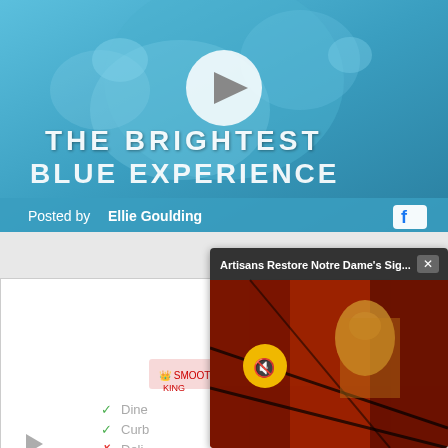[Figure (screenshot): Facebook video post by Ellie Goulding showing 'The Brightest Blue Experience' promo image with a blue-toned close-up of a woman's face, a play button in the center, and text overlaid. Bottom left shows 'Posted by Ellie Goulding' and bottom right shows Facebook logo.]
[Figure (screenshot): Popup video overlay: 'Artisans Restore Notre Dame's Sig...' with a close X button, showing stained glass artwork with a figure's face, and a muted (speaker crossed out) button in yellow circle.]
[Figure (screenshot): Partial advertisement for Smoothie King showing checkmarks for Dine, Curb options and X for Delivery, with Smoothie King logo and play/close icons at bottom left.]